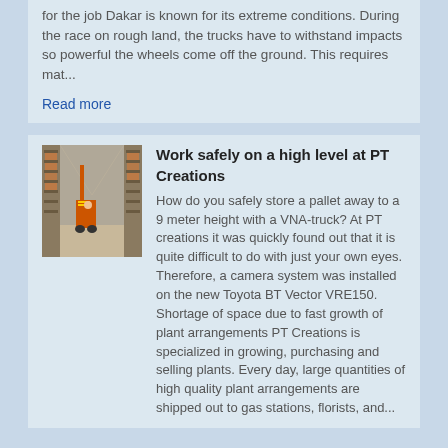for the job Dakar is known for its extreme conditions. During the race on rough land, the trucks have to withstand impacts so powerful the wheels come off the ground. This requires mat...
Read more
[Figure (photo): Warehouse aisle with shelving and a red forklift truck operating at height]
Work safely on a high level at PT Creations
How do you safely store a pallet away to a 9 meter height with a VNA-truck? At PT creations it was quickly found out that it is quite difficult to do with just your own eyes. Therefore, a camera system was installed on the new Toyota BT Vector VRE150. Shortage of space due to fast growth of plant arrangements PT Creations is specialized in growing, purchasing and selling plants. Every day, large quantities of high quality plant arrangements are shipped out to gas stations, florists, and...